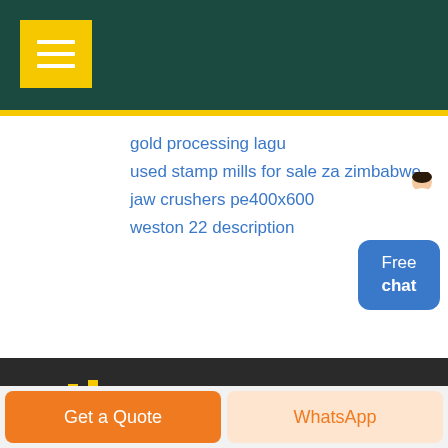Navigation menu header bar with hamburger icon
gold processing lagu
used stamp mills for sale za zimbabwe
jaw crushers pe400x600
weston 22 description
[Figure (screenshot): Free chat widget button with person figure]
[Figure (logo): CHCRUSHER logo with factory icon and tagline: Globalization & Localization]
Get a Quote | WhatsApp